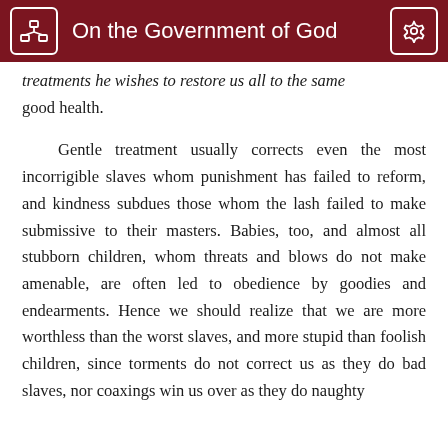On the Government of God
treatments he wishes to restore us all to the same good health.
Gentle treatment usually corrects even the most incorrigible slaves whom punishment has failed to reform, and kindness subdues those whom the lash failed to make submissive to their masters. Babies, too, and almost all stubborn children, whom threats and blows do not make amenable, are often led to obedience by goodies and endearments. Hence we should realize that we are more worthless than the worst slaves, and more stupid than foolish children, since torments do not correct us as they do bad slaves, nor coaxings win us over as they do naughty